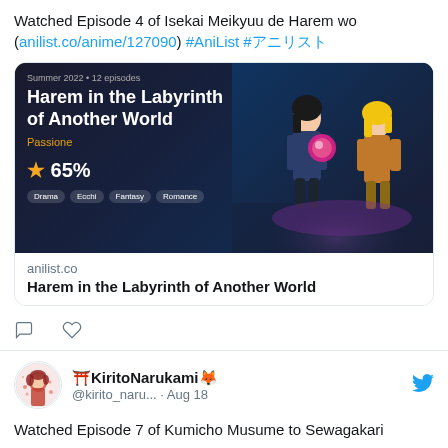Watched Episode 4 of Isekai Meikyuu de Harem wo (anilist.co/anime/127090) #AniList #アニリスト
[Figure (screenshot): Anime banner for 'Harem in the Labyrinth of Another World', Summer 2022, 12 episodes, studio Passione, 65% rating, tags: Drama, Ecchi, Fantasy, Romance]
anilist.co
Harem in the Labyrinth of Another World
KiritoNarukami @kirito_naru... · Aug 18
Watched Episode 7 of Kumicho Musume to Sewagakari